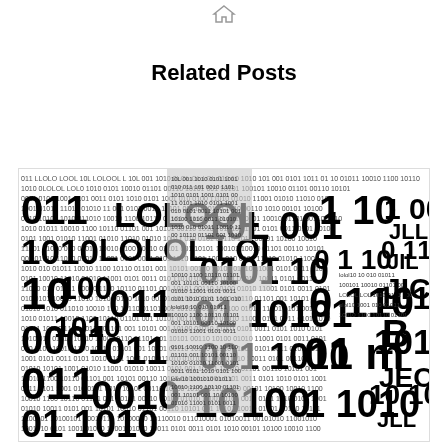[Figure (illustration): Small house/home icon at top center of page]
Related Posts
[Figure (illustration): Binary code puzzle image - black and white image made of 0s and 1s in various sizes arranged in a puzzle piece pattern]